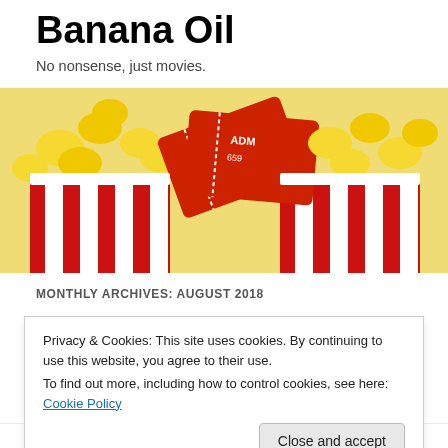Banana Oil
No nonsense, just movies.
[Figure (photo): Popcorn in red and white striped box with orange movie admission tickets on white background]
MONTHLY ARCHIVES: AUGUST 2018
Review: Sorry to Bother You (2018)
Privacy & Cookies: This site uses cookies. By continuing to use this website, you agree to their use.
To find out more, including how to control cookies, see here: Cookie Policy
Close and accept
America, slavery, art, entertainment, and social media